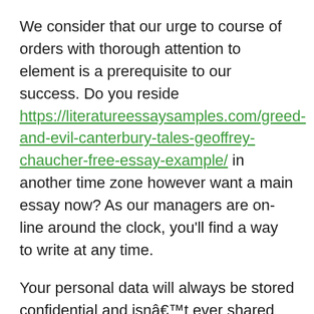We consider that our urge to course of orders with thorough attention to element is a prerequisite to our success. Do you reside https://literatureessaysamples.com/greed-and-evil-canterbury-tales-geoffrey-chaucher-free-essay-example/ in another time zone however want a main essay now? As our managers are on-line around the clock, you'll find a way to write at any time.
Your personal data will always be stored confidential and isnât ever shared with third parties. If there are any problems with the fee, simply contact us in the Live Chat, and our Support Agents will be glad to assist you in fixing the issue